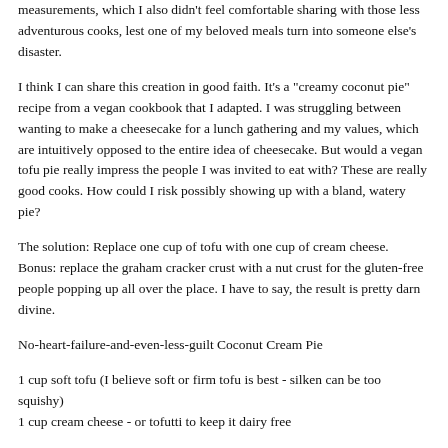measurements, which I also didn't feel comfortable sharing with those less adventurous cooks, lest one of my beloved meals turn into someone else's disaster.
I think I can share this creation in good faith. It's a "creamy coconut pie" recipe from a vegan cookbook that I adapted. I was struggling between wanting to make a cheesecake for a lunch gathering and my values, which are intuitively opposed to the entire idea of cheesecake. But would a vegan tofu pie really impress the people I was invited to eat with? These are really good cooks. How could I risk possibly showing up with a bland, watery pie?
The solution: Replace one cup of tofu with one cup of cream cheese. Bonus: replace the graham cracker crust with a nut crust for the gluten-free people popping up all over the place. I have to say, the result is pretty darn divine.
No-heart-failure-and-even-less-guilt Coconut Cream Pie
1 cup soft tofu (I believe soft or firm tofu is best - silken can be too squishy)
1 cup cream cheese - or tofutti to keep it dairy free